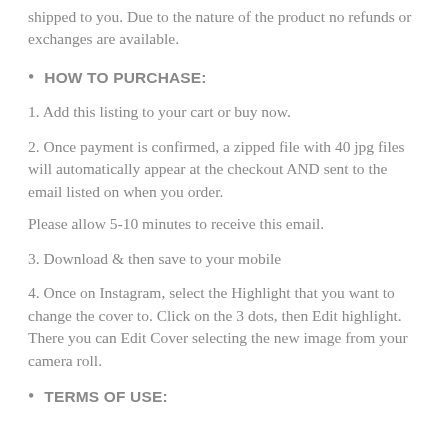shipped to you. Due to the nature of the product no refunds or exchanges are available.
HOW TO PURCHASE:
1. Add this listing to your cart or buy now.
2. Once payment is confirmed, a zipped file with 40 jpg files will automatically appear at the checkout AND sent to the email listed on when you order.
Please allow 5-10 minutes to receive this email.
3. Download & then save to your mobile
4. Once on Instagram, select the Highlight that you want to change the cover to. Click on the 3 dots, then Edit highlight. There you can Edit Cover selecting the new image from your camera roll.
TERMS OF USE: